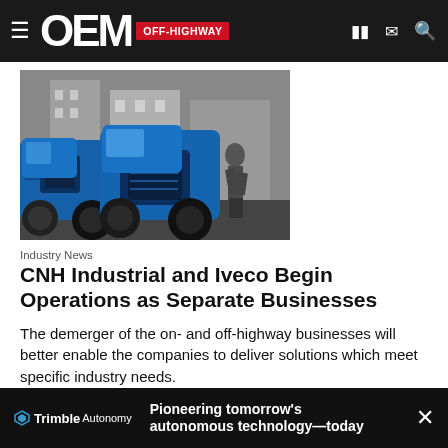OEM OFF-HIGHWAY
[Figure (photo): Blue tractors on a city street, two large blue agricultural tractors with a person standing nearby]
Industry News
CNH Industrial and Iveco Begin Operations as Separate Businesses
The demerger of the on- and off-highway businesses will better enable the companies to deliver solutions which meet specific industry needs.
Sara Jensen
January 14, 2022
[Figure (infographic): Trimble Autonomy advertisement banner: Pioneering tomorrow's autonomous technology—today]